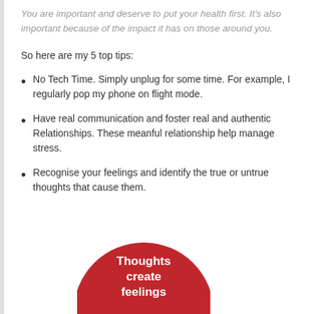You are important and deserve to put your health first. It's also important because of the impact it has on those around you.
So here are my 5 top tips:
No Tech Time. Simply unplug for some time. For example, I regularly pop my phone on flight mode.
Have real communication and foster real and authentic Relationships. These meanful relationship help manage stress.
Recognise your feelings and identify the true or untrue thoughts that cause them.
[Figure (illustration): Partially visible red circle with white bold text reading 'Thoughts create feelings' at the bottom of the page]